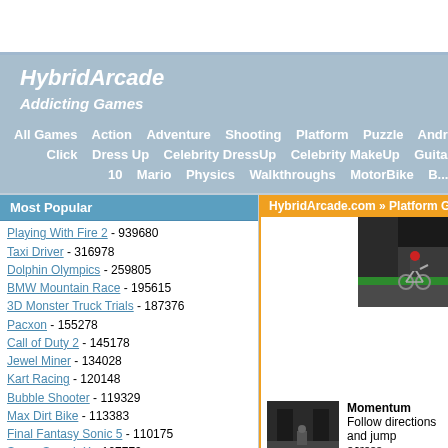HybridArcade
HybridArcade
Addicting Games
All Games   Action   Adventure   Shooting   Platform   Puzzle   Android   R... Click   Dress Up   Celebrity DressUp   Celebrity MakeUp   Guitar   Zo... 10   Mario   Physics   Walkthroughs   MotorBike   B...
Most Popular
Playing With Fire 2 - 939680
Taxi Driver - 316978
Dolphin Olympics - 259805
BMW Mountain Race - 195615
3D Monster Truck Trials - 187376
Pacxon - 155278
Call of Duty 2 - 145178
Jewel Miner - 134028
Kart Racing - 120148
Bubble Shooter - 119329
Max Dirt Bike - 113383
Final Fantasy Sonic 5 - 110175
Super Smash X - 107779
Street Sesh - 106038
Mario Brother 3 - 105863
Drag Racer v2 - 98380
News Hunter 2 - 97103
4 Wheel Fury 2 - 87777
HybridArcade.com » Platform Games Game...
[Figure (screenshot): Screenshot of a platform game showing a character on a bike on a dark street scene with green and grey elements]
Momentum
Follow directions and jump across... gain momentum.
[Figure (screenshot): Small thumbnail of a dark game scene]